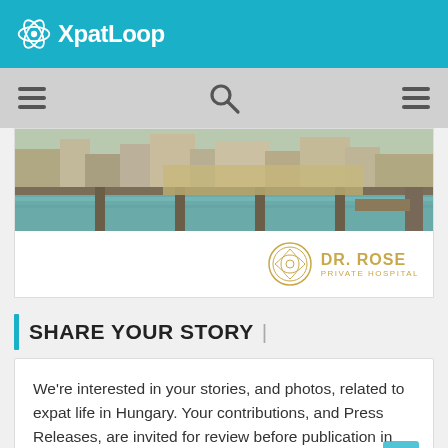XpatLoop
[Figure (screenshot): Navigation bar with hamburger menu icons and search icon on gray background]
[Figure (photo): Advertisement card showing a photo of Budapest with a bridge and river, with Dr. Rose Private Hospital logo]
SHARE YOUR STORY
We're interested in your stories, and photos, related to expat life in Hungary. Your contributions, and Press Releases, are invited for review before publication in the loop.